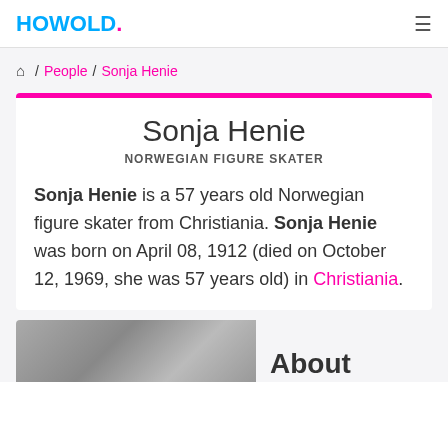HOWOLD.
/ People / Sonja Henie
Sonja Henie
NORWEGIAN FIGURE SKATER
Sonja Henie is a 57 years old Norwegian figure skater from Christiania. Sonja Henie was born on April 08, 1912 (died on October 12, 1969, she was 57 years old) in Christiania.
[Figure (photo): Grayscale photo of Sonja Henie at the bottom of the page]
About